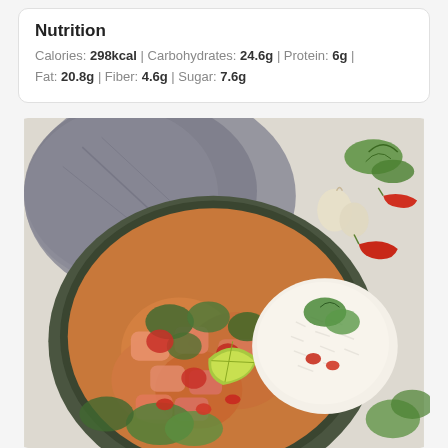Nutrition
Calories: 298kcal | Carbohydrates: 24.6g | Protein: 6g | Fat: 20.8g | Fiber: 4.6g | Sugar: 7.6g
[Figure (photo): A bowl of curry with salmon/chicken pieces, spinach, tomatoes, garnished with a lime wedge, fresh cilantro, and sliced red chili peppers, served alongside white rice. A grey cloth napkin is in the background along with garlic cloves, red chilies, and cilantro scattered on a light surface.]